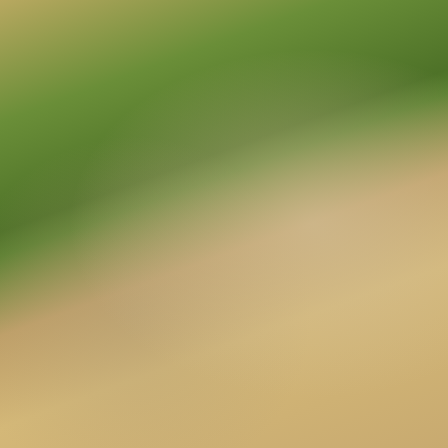[Figure (photo): Close-up macro photograph of a green plant stem or seed pod against a blurred warm beige/brown bokeh background]
| Field | Value |
| --- | --- |
| Species id: | 121390 |
| Image id: | 3 |
| Image number: | 19401 |
| Photographer: | BT Wursten |
| Code 1 if image of a herbarium specimen: | 0 |
| Herbarium in which image taken: |  |
| Code 1 if image not to... | 0 |